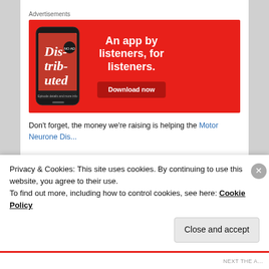Advertisements
[Figure (illustration): Advertisement banner with red background showing a smartphone with 'Dis-trib-uted' podcast app, and text 'An app by listeners, for listeners.' with 'Download now' button.]
Don't forget, the money we're raising is helping the Motor
Privacy & Cookies: This site uses cookies. By continuing to use this website, you agree to their use.
To find out more, including how to control cookies, see here: Cookie Policy
Close and accept